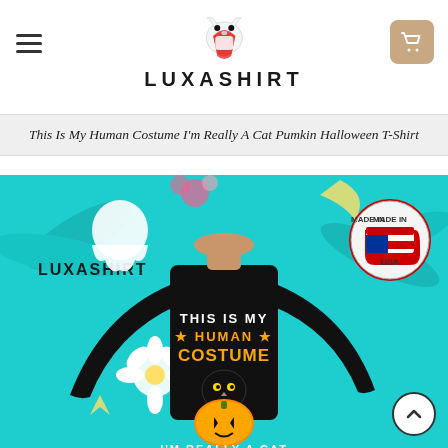LUXASHIRT
This Is My Human Costume I'm Really A Cat Pumkin Halloween T-Shirt
[Figure (photo): Product photo of a man wearing a black long-sleeve Halloween sweatshirt with text 'THIS IS MY HUMAN COSTUME I'M REALLY A CAT' and a graphic of a black cat sitting on a jack-o-lantern pumpkin. The background is teal/turquoise with tropical leaves, flowers, and a 'Made in USA' badge. The Luxashirt logo is visible on the shirt. Below the main image are thumbnail previews of other shirt styles.]